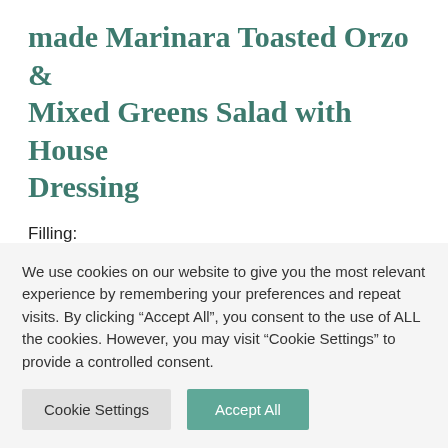made Marinara Toasted Orzo & Mixed Greens Salad with House Dressing
Filling:
1 large eggplant cut in 1/2 length wise (scoop out insides & save)
3 Tbsp olive oil
We use cookies on our website to give you the most relevant experience by remembering your preferences and repeat visits. By clicking “Accept All”, you consent to the use of ALL the cookies. However, you may visit “Cookie Settings” to provide a controlled consent.